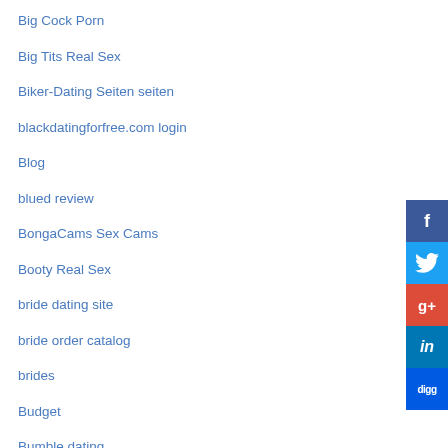Big Cock Porn
Big Tits Real Sex
Biker-Dating Seiten seiten
blackdatingforfree.com login
Blog
blued review
BongaCams Sex Cams
Booty Real Sex
bride dating site
bride order catalog
brides
Budget
Bumble dating